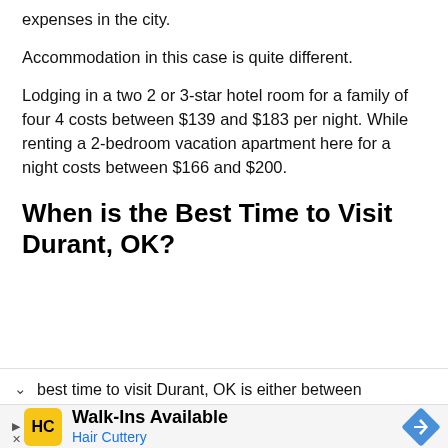expenses in the city.
Accommodation in this case is quite different.
Lodging in a two 2 or 3-star hotel room for a family of four 4 costs between $139 and $183 per night. While renting a 2-bedroom vacation apartment here for a night costs between $166 and $200.
When is the Best Time to Visit Durant, OK?
best time to visit Durant, OK is either between
[Figure (screenshot): Advertisement banner for Hair Cuttery showing logo, Walk-Ins Available text, and navigation icon]